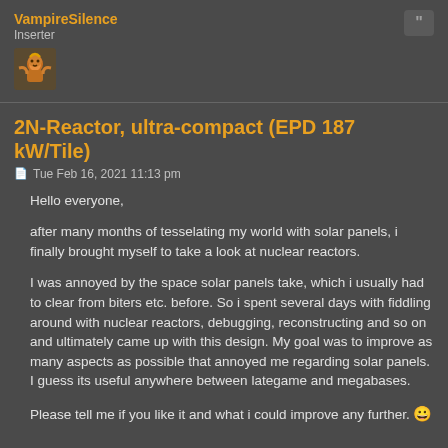VampireSilence
Inserter
2N-Reactor, ultra-compact (EPD 187 kW/Tile)
Tue Feb 16, 2021 11:13 pm
Hello everyone,

after many months of tesselating my world with solar panels, i finally brought myself to take a look at nuclear reactors.

I was annoyed by the space solar panels take, which i usually had to clear from biters etc. before. So i spent several days with fiddling around with nuclear reactors, debugging, reconstructing and so on and ultimately came up with this design. My goal was to improve as many aspects as possible that annoyed me regarding solar panels. I guess its useful anywhere between lategame and megabases.

Please tell me if you like it and what i could improve any further. 😀